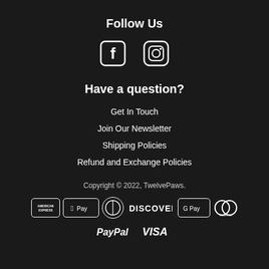Follow Us
[Figure (illustration): Facebook and Instagram social media icons in white]
Have a question?
Get In Touch
Join Our Newsletter
Shipping Policies
Refund and Exchange Policies
Copyright © 2022, TwelvePaws.
[Figure (logo): Payment method logos: American Express, Apple Pay, Diners Club, Discover, Google Pay, Mastercard, PayPal, Visa]